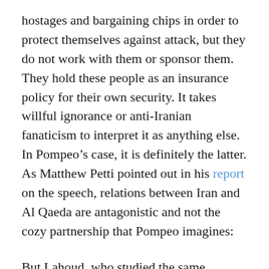hostages and bargaining chips in order to protect themselves against attack, but they do not work with them or sponsor them. They hold these people as an insurance policy for their own security. It takes willful ignorance or anti-Iranian fanaticism to interpret it as anything else. In Pompeo’s case, it is definitely the latter. As Matthew Petti pointed out in his report on the speech, relations between Iran and Al Qaeda are antagonistic and not the cozy partnership that Pompeo imagines:
But Lahoud, who studied the same documents, found just the opposite. She published a study in 2018 showing that al-Qaida “views Iran as a hostile entity,” and points out that members of the group were mistreated and even died in Iranian custody.